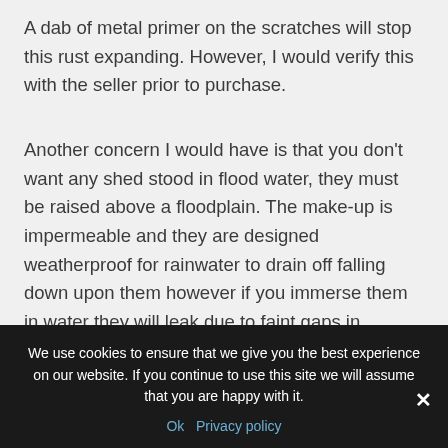A dab of metal primer on the scratches will stop this rust expanding. However, I would verify this with the seller prior to purchase.
Another concern I would have is that you don't want any shed stood in flood water, they must be raised above a floodplain. The make-up is impermeable and they are designed weatherproof for rainwater to drain off falling down upon them however if you immerse them in water they will leak due to faint gaps in
We use cookies to ensure that we give you the best experience on our website. If you continue to use this site we will assume that you are happy with it.
Ok   Privacy policy